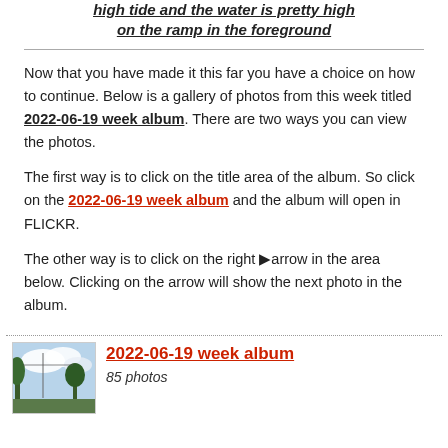high tide and the water is pretty high on the ramp in the foreground
Now that you have made it this far you have a choice on how to continue. Below is a gallery of photos from this week titled 2022-06-19 week album. There are two ways you can view the photos.
The first way is to click on the title area of the album. So click on the 2022-06-19 week album and the album will open in FLICKR.
The other way is to click on the right ▶arrow in the area below. Clicking on the arrow will show the next photo in the album.
[Figure (photo): Thumbnail photo showing sky and trees, part of 2022-06-19 week album]
2022-06-19 week album
85 photos